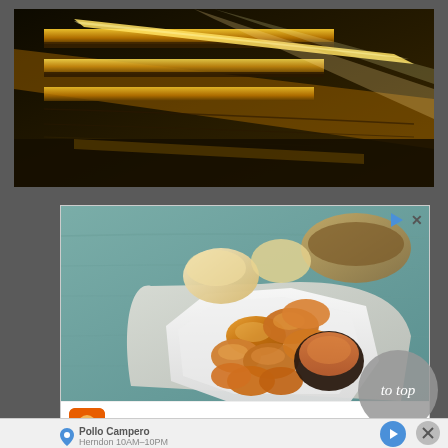[Figure (photo): Top portion of a golden/brass staircase or railing with warm golden lighting, dark background]
[Figure (photo): Advertisement showing fried chicken nuggets on a white octagonal plate with dipping sauce and dinner rolls on a teal background]
Ordena En Linea
to top
Pollo Campero
Herndon 10AM–10PM